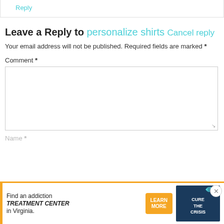Reply
Leave a Reply to personalize shirts Cancel reply
Your email address will not be published. Required fields are marked *
Comment *
Name *
[Figure (other): Advertisement banner: Find an addiction TREATMENT CENTER in Virginia. Learn More button and pill image.]